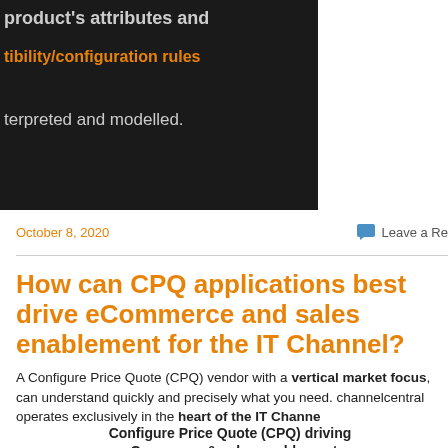[Figure (screenshot): Dark background screenshot showing partial text about product attributes and compatibility/configuration rules being interpreted and modelled.]
October 8, 2020
Leave a Re...
How can CPQ applications best drive eCommerce and sales enablement for the IT Channel?
A Configure Price Quote (CPQ) vendor with a vertical market focus, can understand quickly and precisely what you need. channelcentral operates exclusively in the heart of the IT Channel
Configure Price Quote (CPQ) driving eCommerce & sales enablement